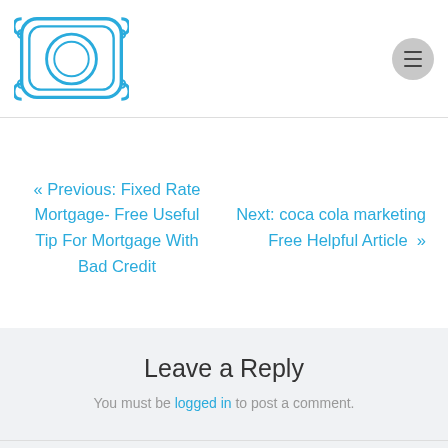Logo and navigation menu button
« Previous: Fixed Rate Mortgage- Free Useful Tip For Mortgage With Bad Credit
Next: coca cola marketing Free Helpful Article »
Leave a Reply
You must be logged in to post a comment.